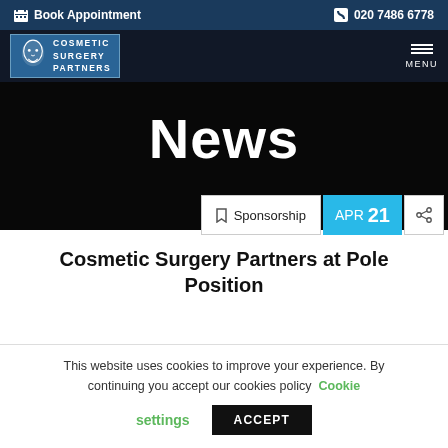Book Appointment  020 7486 6778
[Figure (screenshot): Cosmetic Surgery Partners logo with face illustration on blue background]
News
Sponsorship  APR 21
Cosmetic Surgery Partners at Pole Position
This website uses cookies to improve your experience. By continuing you accept our cookies policy  Cookie settings  ACCEPT